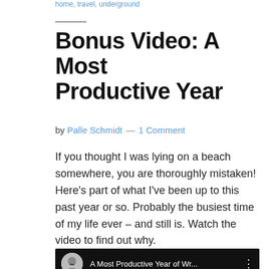home, travel, underground
Bonus Video: A Most Productive Year
by Palle Schmidt — 1 Comment
If you thought I was lying on a beach somewhere, you are thoroughly mistaken! Here's part of what I've been up to this past year or so. Probably the busiest time of my life ever – and still is. Watch the video to find out why.
[Figure (screenshot): Video thumbnail showing a circular avatar photo of a man with glasses, with white text reading 'A Most Productive Year of Wr...' on a dark/black background, and a vertical dots menu icon on the right.]